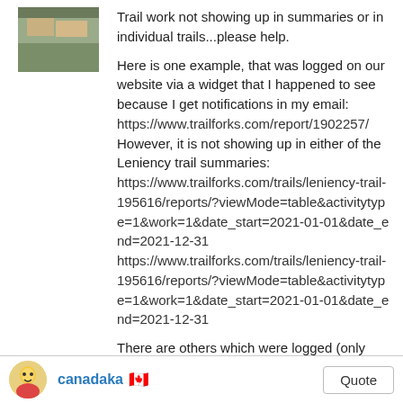[Figure (photo): User avatar thumbnail image, small landscape photo]
Trail work not showing up in summaries or in individual trails...please help.

Here is one example, that was logged on our website via a widget that I happened to see because I get notifications in my email:
https://www.trailforks.com/report/1902257/
However, it is not showing up in either of the Leniency trail summaries:
https://www.trailforks.com/trails/leniency-trail-195616/reports/?viewMode=table&activitytype=1&work=1&date_start=2021-01-01&date_end=2021-12-31
https://www.trailforks.com/trails/leniency-trail-195616/reports/?viewMode=table&activitytype=1&work=1&date_start=2021-01-01&date_end=2021-12-31

There are others which were logged (only back thru Nov 1st as I didn't have time to record them all for the year yet):
https://www.trailforks.com/report/1914807/
https://www.trailforks.com/report/1914808/
https://www.trailforks.com/report/1903605/
https://www.trailforks.com/report/1902257/
[Figure (illustration): Footer user avatar, cartoon character]
canadaka 🇨🇦
Quote